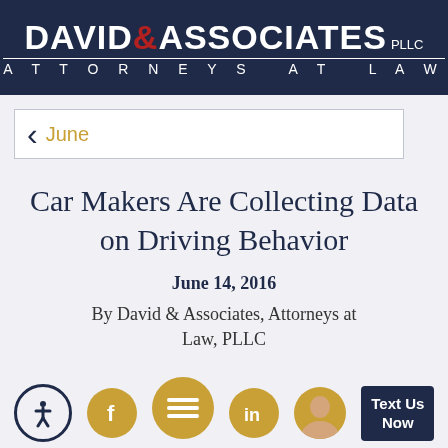[Figure (logo): David & Associates PLLC Attorneys at Law logo — white and red text on dark navy background]
June
Car Makers Are Collecting Data on Driving Behavior
June 14, 2016
By David & Associates, Attorneys at Law, PLLC
[Figure (infographic): Bottom navigation bar with accessibility icon, Facebook icon, menu icon, LinkedIn icon, attorney avatar, and Text Us Now button]